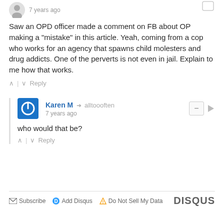7 years ago
Saw an OPD officer made a comment on FB about OP making a "mistake" in this article. Yeah, coming from a cop who works for an agency that spawns child molesters and drug addicts. One of the perverts is not even in jail. Explain to me how that works.
Karen M → alltoooften
7 years ago
who would that be?
Subscribe  Add Disqus  Do Not Sell My Data    DISQUS